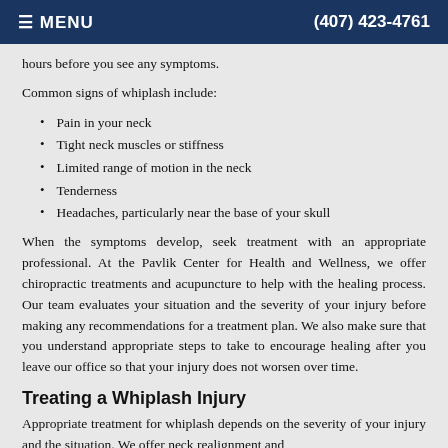≡ MENU   (407) 423-4761
hours before you see any symptoms.
Common signs of whiplash include:
Pain in your neck
Tight neck muscles or stiffness
Limited range of motion in the neck
Tenderness
Headaches, particularly near the base of your skull
When the symptoms develop, seek treatment with an appropriate professional. At the Pavlik Center for Health and Wellness, we offer chiropractic treatments and acupuncture to help with the healing process. Our team evaluates your situation and the severity of your injury before making any recommendations for a treatment plan. We also make sure that you understand appropriate steps to take to encourage healing after you leave our office so that your injury does not worsen over time.
Treating a Whiplash Injury
Appropriate treatment for whiplash depends on the severity of your injury and the situation. We offer neck realignment and